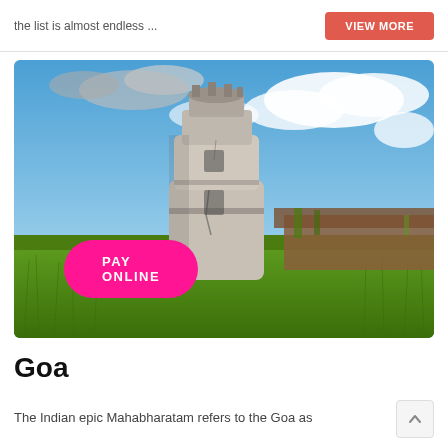the list is almost endless ...
VIEW MORE
[Figure (photo): Photograph of an old Portuguese fort tower (likely Fort Aguada in Goa) with crumbling white walls surrounded by green grass, under a partly cloudy blue sky. A pink 'PAY ONLINE' button overlays the bottom-left of the image.]
Goa
The Indian epic Mahabharatam refers to the Goa as